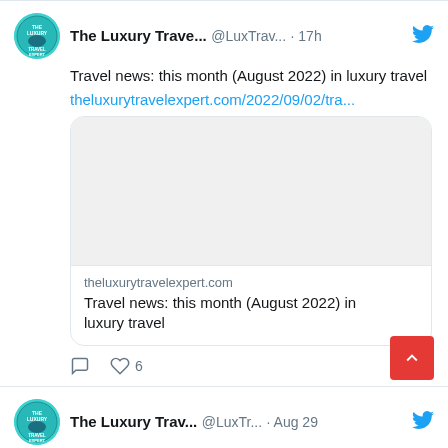The Luxury Trave... @LuxTrav... · 17h
Travel news: this month (August 2022) in luxury travel
theluxurytravelexpert.com/2022/09/02/tra...
[Figure (screenshot): Link preview card showing an image placeholder and text: theluxurytravelexpert.com / Travel news: this month (August 2022) in luxury travel]
6
The Luxury Trav... @LuxTr... · Aug 29